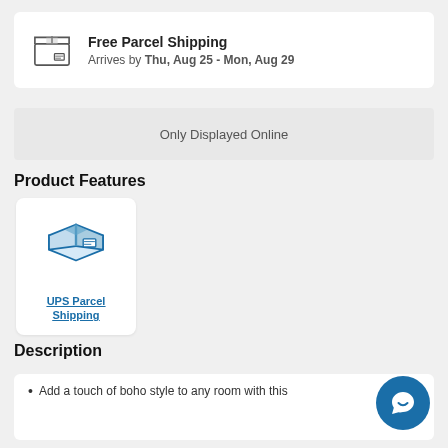Free Parcel Shipping
Arrives by Thu, Aug 25 - Mon, Aug 29
Only Displayed Online
Product Features
[Figure (illustration): Blue illustrated cardboard box icon representing UPS Parcel Shipping]
UPS Parcel Shipping
Description
Add a touch of boho style to any room with this